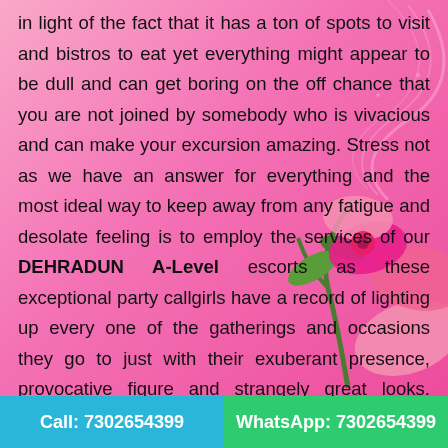in light of the fact that it has a ton of spots to visit and bistros to eat yet everything might appear to be dull and can get boring on the off chance that you are not joined by somebody who is vivacious and can make your excursion amazing. Stress not as we have an answer for everything and the most ideal way to keep away from any fatigue and desolate feeling is to employ the services of our DEHRADUN A-Level escorts as these exceptional party callgirls have a record of lighting up every one of the gatherings and occasions they go to just with their exuberant presence, provocative figure and strangely great looks. Starting from the beginning of our organization, we have introduce recent fads on the lookout and we
Call: 7302654399    WhatsApp: 7302654399